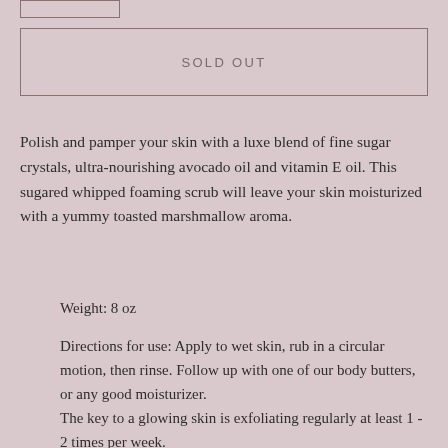[Figure (other): Small rectangular button stub at top left, partially visible]
SOLD OUT
Polish and pamper your skin with a luxe blend of fine sugar crystals, ultra-nourishing avocado oil and vitamin E oil. This sugared whipped foaming scrub will leave your skin moisturized with a yummy toasted marshmallow aroma.
Weight: 8 oz
Directions for use: Apply to wet skin, rub in a circular motion, then rinse. Follow up with one of our body butters, or any good moisturizer.
The key to a glowing skin is exfoliating regularly at least 1 - 2 times per week.